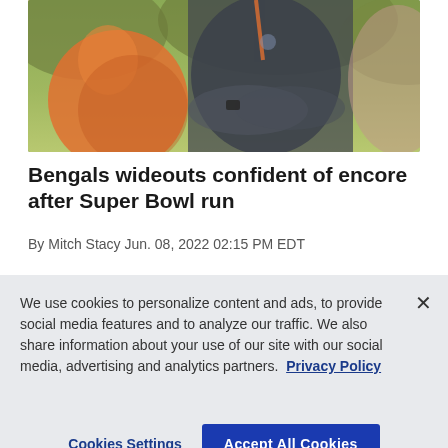[Figure (photo): Two people in orange and dark gray sports/coaching attire, outdoors with green foliage background. One person in orange Nike shirt on left, another in dark gray zip-up jacket with arms crossed in center.]
Bengals wideouts confident of encore after Super Bowl run
By Mitch Stacy Jun. 08, 2022 02:15 PM EDT
We use cookies to personalize content and ads, to provide social media features and to analyze our traffic. We also share information about your use of our site with our social media, advertising and analytics partners.  Privacy Policy
Cookies Settings    Accept All Cookies